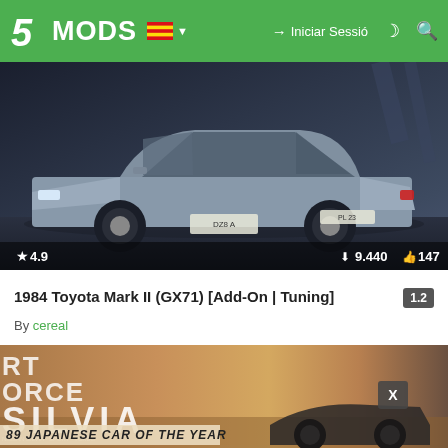5MODS — Iniciar Sessió
[Figure (screenshot): Screenshot of a 1984 Toyota Mark II (GX71) car mod preview image from GTA5-Mods website, showing a silver/blue sedan in a dark environment with rating 4.9, 9,440 downloads, and 147 likes]
1984 Toyota Mark II (GX71) [Add-On | Tuning]
By cereal
[Figure (screenshot): Screenshot of a Silvia car mod preview image showing text RT ORCE SILVIA and 89 JAPANESE CAR OF THE YEAR with an X button overlay]